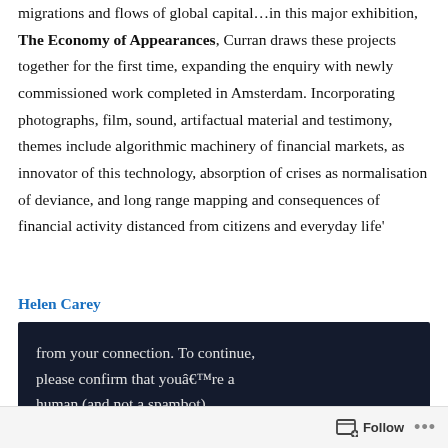migrations and flows of global capital…in this major exhibition, The Economy of Appearances, Curran draws these projects together for the first time, expanding the enquiry with newly commissioned work completed in Amsterdam. Incorporating photographs, film, sound, artifactual material and testimony, themes include algorithmic machinery of financial markets, as innovator of this technology, absorption of crises as normalisation of deviance, and long range mapping and consequences of financial activity distanced from citizens and everyday life'
Helen Carey
from your connection. To continue, please confirm that youâ€™re a human (and not a spambot).
Follow ...